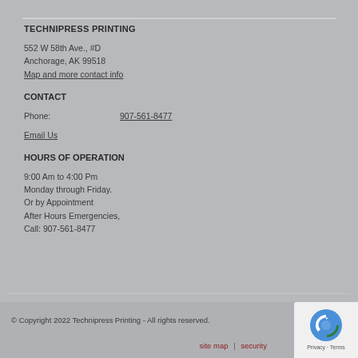TECHNIPRESS PRINTING
552 W 58th Ave., #D
Anchorage, AK 99518
Map and more contact info
CONTACT
Phone: 907-561-8477
Email Us
HOURS OF OPERATION
9:00 Am to 4:00 Pm
Monday through Friday.
Or by Appointment

After Hours Emergencies,
Call: 907-561-8477
© Copyright 2022 Technipress Printing - All rights reserved.
site map | security